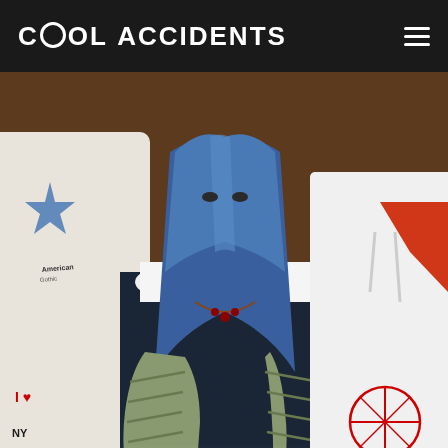Cool Accidents
[Figure (photo): Photo of a person with blue hair wearing mummy-wrapped arms/hands with a spiked bracelet, flanked by two others in graphic/white hoodies, in a dark moody setting]
[Figure (infographic): Advertisement banner: Play Your Favorite Mahjong - with mahjong tile icons]
LISTS
8 SPOOKY HALLOWEEN SONGS TO GET THE SKELETONS IN YOUR CLOSET DANCING